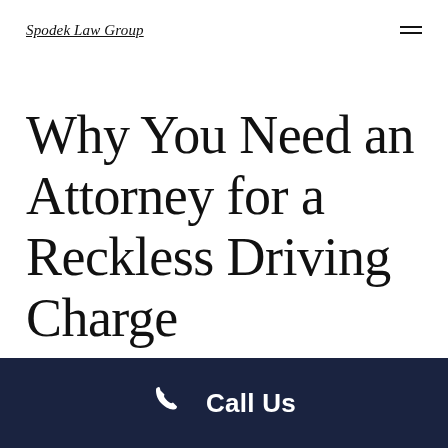Spodek Law Group
Why You Need an Attorney for a Reckless Driving Charge
Call Us